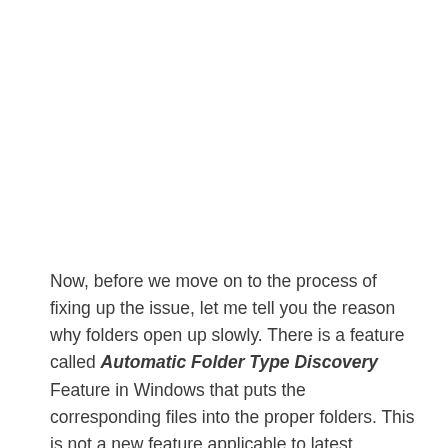Now, before we move on to the process of fixing up the issue, let me tell you the reason why folders open up slowly. There is a feature called Automatic Folder Type Discovery Feature in Windows that puts the corresponding files into the proper folders. This is not a new feature applicable to latest versions